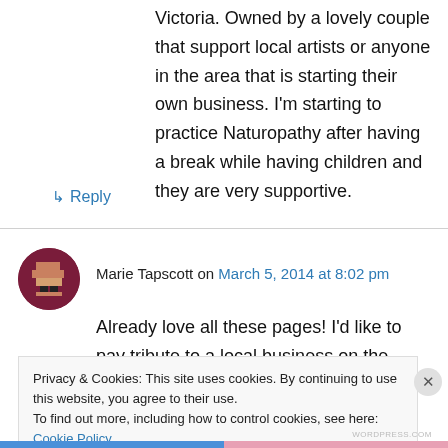Victoria. Owned by a lovely couple that support local artists or anyone in the area that is starting their own business. I'm starting to practice Naturopathy after having a break while having children and they are very supportive.
↳ Reply
Marie Tapscott on March 5, 2014 at 8:02 pm
Already love all these pages! I'd like to pay tribute to a local business on the Adelaide plains
Privacy & Cookies: This site uses cookies. By continuing to use this website, you agree to their use.
To find out more, including how to control cookies, see here: Cookie Policy
Close and accept